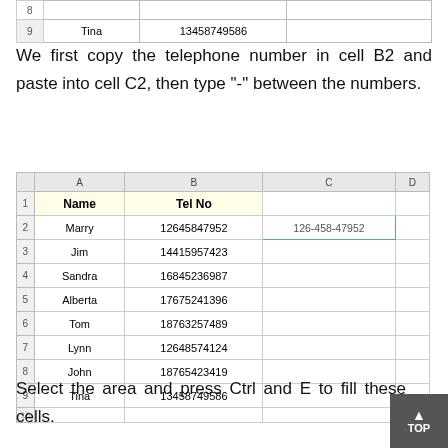|  | A | B | C | D |
| --- | --- | --- | --- | --- |
| 8 |  |  |  |
| 9 | Tina | 13458749586 |  |
We first copy the telephone number in cell B2 and paste into cell C2, then type "-" between the numbers.
|  | A | B | C | D |
| --- | --- | --- | --- | --- |
| 1 | Name | Tel No |  |  |
| 2 | Marry | 12645847952 | 126-458-47952 |  |
| 3 | Jim | 14415957423 |  |  |
| 4 | Sandra | 16845236987 |  |  |
| 5 | Alberta | 17675241396 |  |  |
| 6 | Tom | 18763257489 |  |  |
| 7 | Lynn | 12648574124 |  |  |
| 8 | John | 18765423419 |  |  |
| 9 | Tina | 13458749586 |  |  |
Select the area and press Ctrl and E to fill these cells.